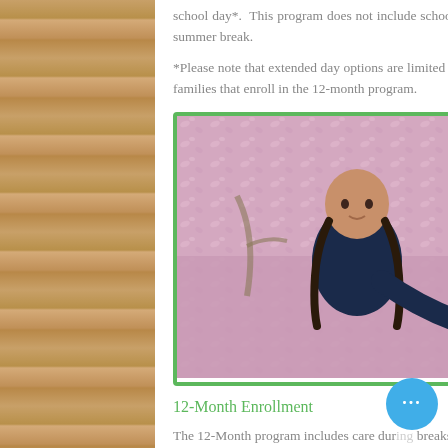school day*.  This program does not include school during holiday breaks, professional days, and summer break.
*Please note that extended day options are limited for 10-month students, as preference is given to families that enroll in the 12-month program.
[Figure (photo): A young girl with braided pigtails wearing a dark navy shirt, holding out a pink flower toward the camera, with a pink floral ground cover in the background. Photo is framed with a green border.]
12-Month Enrollment
The 12-Month program includes care during breaks, professional days, and the summer